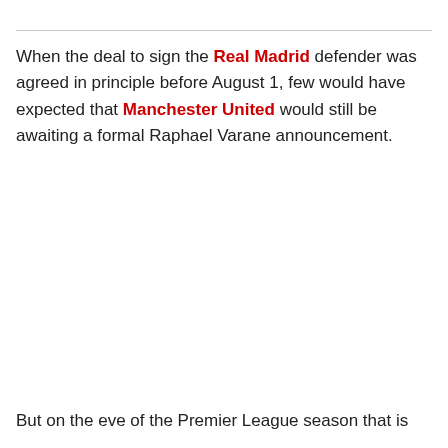When the deal to sign the Real Madrid defender was agreed in principle before August 1, few would have expected that Manchester United would still be awaiting a formal Raphael Varane announcement.
But on the eve of the Premier League season that is